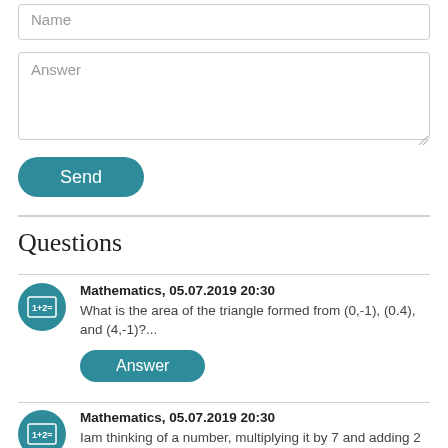Name
Answer
Send
Questions
Mathematics, 05.07.2019 20:30
What is the area of the triangle formed from (0,-1), (0.4), and (4,-1)?...
Answer
Mathematics, 05.07.2019 20:30
Iam thinking of a number, multiplying it by 7 and adding 2 is